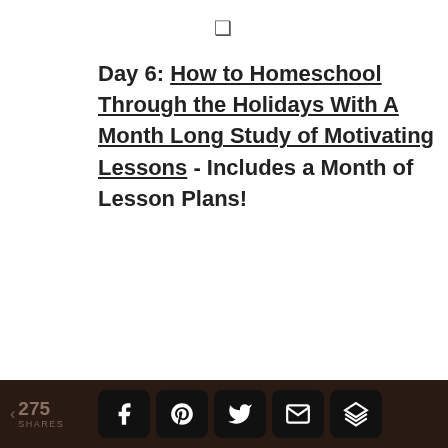❑
Day 6: How to Homeschool Through the Holidays With A Month Long Study of Motivating Lessons - Includes a Month of Lesson Plans!
And if you thought this was fun, find more 5 Days of Christmas from other iHomeschool Network bloggers:
[Figure (photo): Snow-covered pine branches with pine cones, wintery holiday decoration photo]
< 275 SHARES  [Facebook] [Pinterest] [Twitter] [Email] [Buffer]